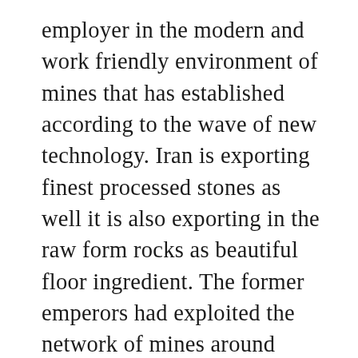employer in the modern and work friendly environment of mines that has established according to the wave of new technology. Iran is exporting finest processed stones as well it is also exporting in the raw form rocks as beautiful floor ingredient. The former emperors had exploited the network of mines around 2100 B.C and it turned into a work force community in the onset of 10th century. Authorities shaped differently to get more rocks for more stone.